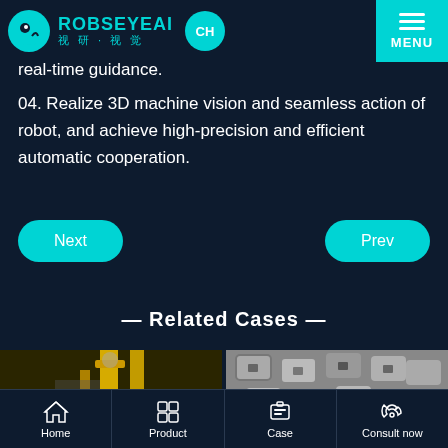ROBOEYEAI 视研·视觉 CH MENU
real-time guidance.
04. Realize 3D machine vision and seamless action of robot, and achieve high-precision and efficient automatic cooperation.
Next
Prev
— Related Cases —
[Figure (photo): Industrial robot arm with yellow frame in warehouse/factory setting]
[Figure (photo): Metal bracket/hardware parts arranged in a pile]
Home  Product  Case  Consult now